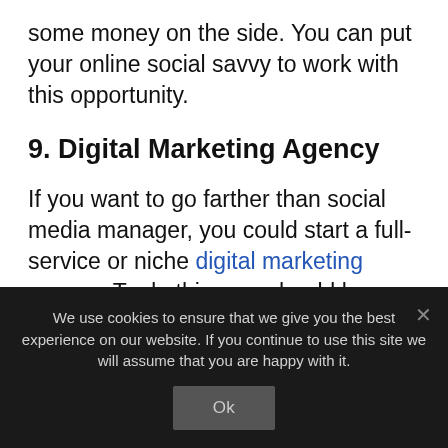some money on the side. You can put your online social savvy to work with this opportunity.
9. Digital Marketing Agency
If you want to go farther than social media manager, you could start a full-service or niche digital marketing agency. To do this, you should learn about content strategy, content creation, social media, SEO, website
We use cookies to ensure that we give you the best experience on our website. If you continue to use this site we will assume that you are happy with it.